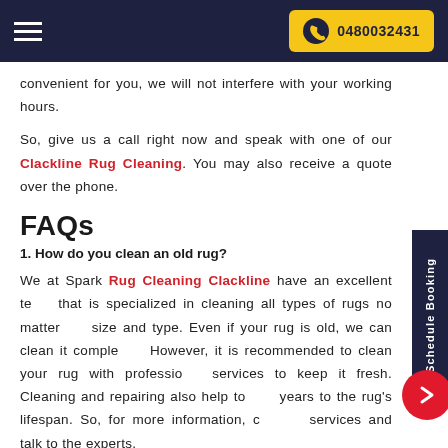0480032431
convenient for you, we will not interfere with your working hours.
So, give us a call right now and speak with one of our Clackline Rug Cleaning. You may also receive a quote over the phone.
FAQs
1. How do you clean an old rug?
We at Spark Rug Cleaning Clackline have an excellent team that is specialized in cleaning all types of rugs no matter the size and type. Even if your rug is old, we can clean it completely. However, it is recommended to clean your rug with professional services to keep it fresh. Cleaning and repairing also help to add years to the rug's lifespan. So, for more information, call our services and talk to the experts.